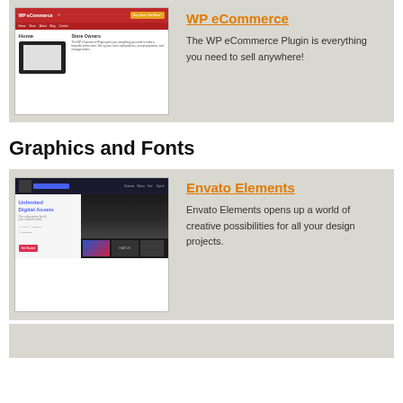[Figure (screenshot): WP eCommerce website screenshot showing a red navigation bar, laptop mockup, and Store Owners section]
WP eCommerce
The WP eCommerce Plugin is everything you need to sell anywhere!
Graphics and Fonts
[Figure (screenshot): Envato Elements website screenshot showing 'Unlimited Digital Assets' heading with blue text and a dark mountain landscape image]
Envato Elements
Envato Elements opens up a world of creative possibilities for all your design projects.